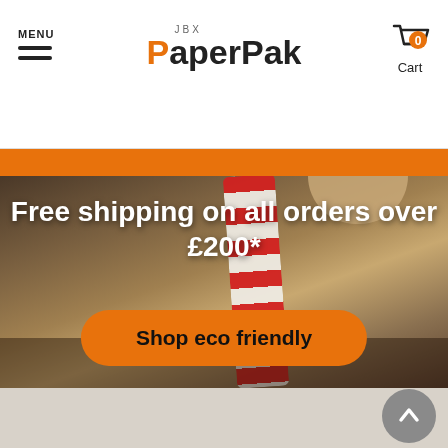MENU | JBX PaperPak | Cart 0
[Figure (screenshot): Website screenshot showing JBX PaperPak e-commerce homepage with navigation header, orange stripe, hero image of paper straws being held, promotional text 'Free shipping on all orders over £200*', and 'Shop eco friendly' CTA button]
Free shipping on all orders over £200*
Shop eco friendly